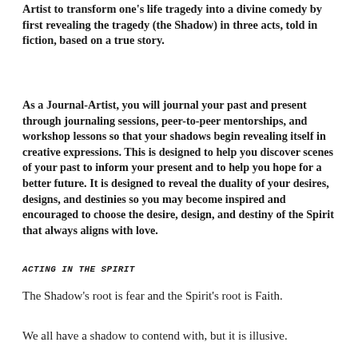Artist to transform one’s life tragedy into a divine comedy by first revealing the tragedy (the Shadow) in three acts, told in fiction, based on a true story.
As a Journal-Artist, you will journal your past and present through journaling sessions, peer-to-peer mentorships, and workshop lessons so that your shadows begin revealing itself in creative expressions. This is designed to help you discover scenes of your past to inform your present and to help you hope for a better future. It is designed to reveal the duality of your desires, designs, and destinies so you may become inspired and encouraged to choose the desire, design, and destiny of the Spirit that always aligns with love.
Acting In The Spirit
The Shadow’s root is fear and the Spirit’s root is Faith.
We all have a shadow to contend with, but it is illusive.